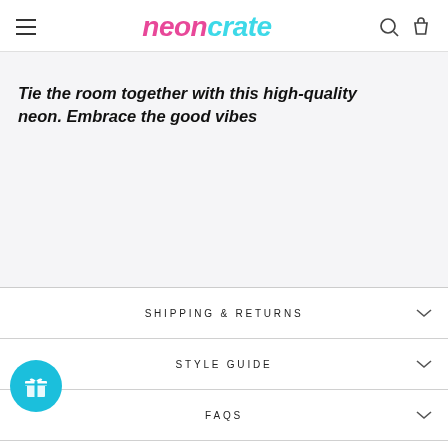NEONCRATE
Tie the room together with this high-quality neon. Embrace the good vibes
SHIPPING & RETURNS
STYLE GUIDE
FAQS
ASK A QUESTION